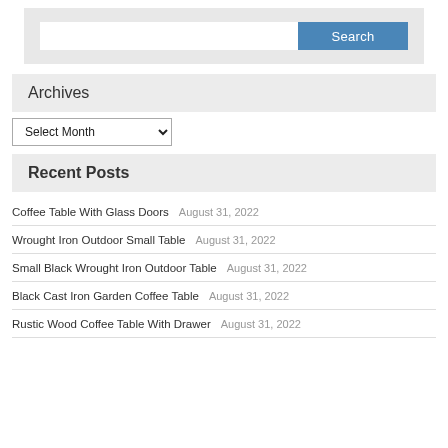[Figure (screenshot): Search widget with text input and blue Search button on grey background]
Archives
Select Month
Recent Posts
Coffee Table With Glass Doors    August 31, 2022
Wrought Iron Outdoor Small Table    August 31, 2022
Small Black Wrought Iron Outdoor Table    August 31, 2022
Black Cast Iron Garden Coffee Table    August 31, 2022
Rustic Wood Coffee Table With Drawer    August 31, 2022